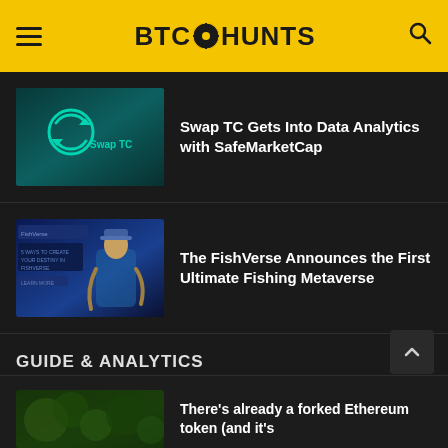BTC HUNTS
[Figure (screenshot): Swap TC logo on dark teal background]
Swap TC Gets Into Data Analytics with SafeMarketCap
[Figure (screenshot): FishVerse metaverse banner with 3D character on blue background]
The FishVerse Announces the First Ultimate Fishing Metaverse
GUIDE & ANALYTICS
[Figure (screenshot): Ethereum coin with green market chart background]
Ethereum-mania continues to lead the market
[Figure (screenshot): Partial image of forked Ethereum token article thumbnail]
There's already a forked Ethereum token (and it's